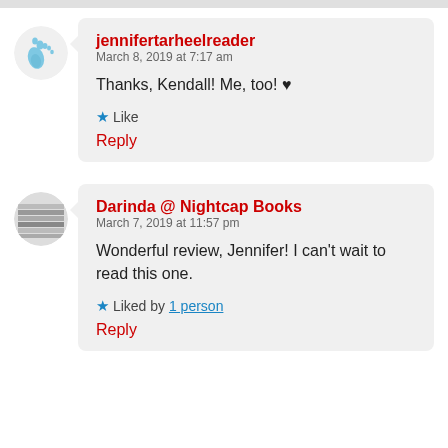jennifertarheelreader
March 8, 2019 at 7:17 am
Thanks, Kendall! Me, too! ♥
★ Like
Reply
Darinda @ Nightcap Books
March 7, 2019 at 11:57 pm
Wonderful review, Jennifer! I can't wait to read this one.
★ Liked by 1 person
Reply